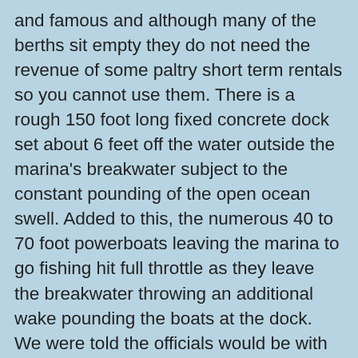and famous and although many of the berths sit empty they do not need the revenue of some paltry short term rentals so you cannot use them. There is a rough 150 foot long fixed concrete dock set about 6 feet off the water outside the marina's breakwater subject to the constant pounding of the open ocean swell. Added to this, the numerous 40 to 70 foot powerboats leaving the marina to go fishing hit full throttle as they leave the breakwater throwing an additional wake pounding the boats at the dock. We were told the officials would be with us in 15 minutes. After two and a half hours fending of the dock, I was finally taken to the various offices leaving Mags to tend the dock line protectors and bumpers. Although some of the officials expressed concern about the conditions they said there was nothing they could do as Casa del Campo managed all the facilities for the owners. To add insult to injury